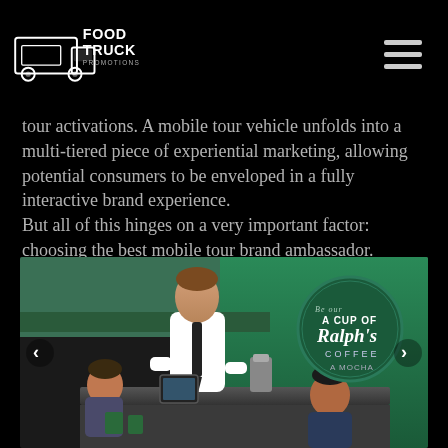Food Truck Promotions logo and navigation
tour activations. A mobile tour vehicle unfolds into a multi-tiered piece of experiential marketing, allowing potential consumers to be enveloped in a fully interactive brand experience.
But all of this hinges on a very important factor: choosing the best mobile tour brand ambassador.
[Figure (photo): A person in white shirt and tie working at a food truck counter, serving customers. A green Ralph's Coffee branding is visible on the truck side with text 'A CUP OF Ralph's COFFEE A MOCHA'.]